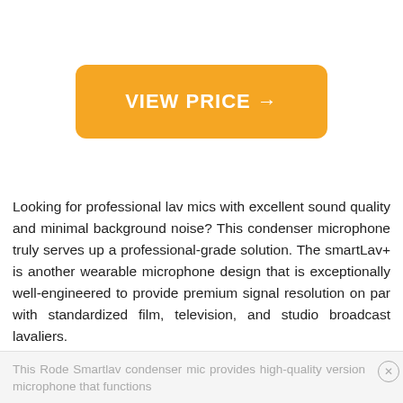[Figure (other): Orange rounded rectangle button with white bold text 'VIEW PRICE →']
Looking for professional lav mics with excellent sound quality and minimal background noise? This condenser microphone truly serves up a professional-grade solution. The smartLav+ is another wearable microphone design that is exceptionally well-engineered to provide premium signal resolution on par with standardized film, television, and studio broadcast lavaliers.
This Rode Smartlav condenser mic provides high-quality version microphone that functions